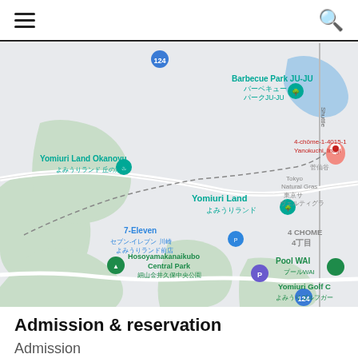Navigation header with hamburger menu and search icon
[Figure (map): Google Maps screenshot showing area around Yomiuri Land in Kawasaki/Tokyo. Landmarks include: Barbecue Park JU-JU (バーベキューパークJU-JU), Yomiuri Land Okanoyu (よみうりランド 丘の湯), Yomiuri Land (よみうりランド), 7-Eleven (セブン-イレブン 川崎 よみうりランド前店), Hosoyamakanaikubo Central Park (細山金井久保中央公園), 4-chome-1-4015-1 Yanokuchi, Tokyo Natural Grass (東京サ ヴェルティグラ), 4 CHOME 4丁目, Pool WAI (プールWAI), Yomiuri Golf C (よみうりゴルフガー). Road 124 visible. Shuttle road marked. Pink location pin near top right.]
Admission & reservation
Admission